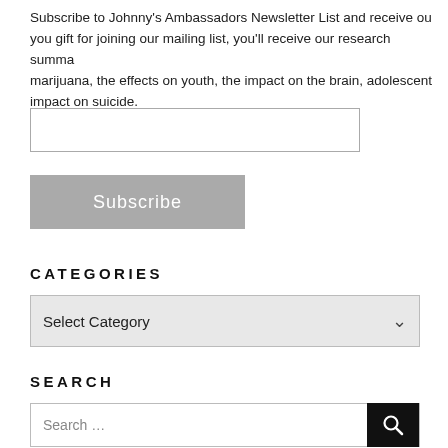Subscribe to Johnny's Ambassadors Newsletter List and receive our you gift for joining our mailing list, you'll receive our research summa marijuana, the effects on youth, the impact on the brain, adolescent impact on suicide.
[Figure (other): Email input text field]
[Figure (other): Subscribe button (gray)]
CATEGORIES
[Figure (other): Select Category dropdown]
SEARCH
[Figure (other): Search input field with search button]